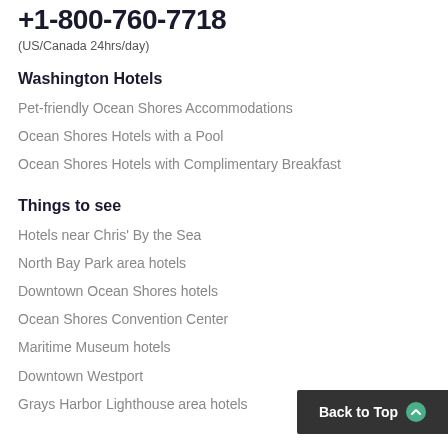+1-800-760-7718
(US/Canada 24hrs/day)
Washington Hotels
Pet-friendly Ocean Shores Accommodations
Ocean Shores Hotels with a Pool
Ocean Shores Hotels with Complimentary Breakfast
Things to see
Hotels near Chris' By the Sea
North Bay Park area hotels
Downtown Ocean Shores hotels
Ocean Shores Convention Center
Maritime Museum hotels
Downtown Westport
Grays Harbor Lighthouse area hotels
Back to Top